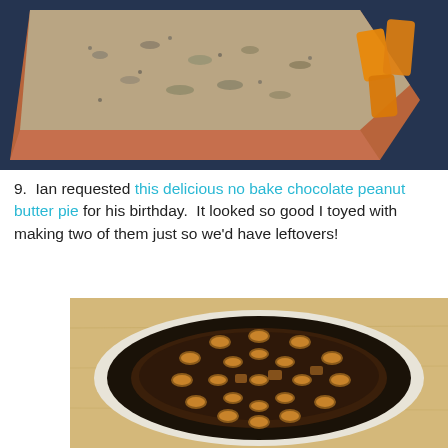[Figure (photo): Close-up photo of baked salmon with herb crust on a dark blue plate, with orange vegetable pieces (squash or peppers) on the side.]
9.  Ian requested this delicious no bake chocolate peanut butter pie for his birthday.  It looked so good I toyed with making two of them just so we'd have leftovers!
[Figure (photo): Top-down photo of a no-bake chocolate peanut butter pie with an Oreo cookie crust, topped with Reese's peanut butter cups arranged across a dark chocolate filling, on a wooden surface.]